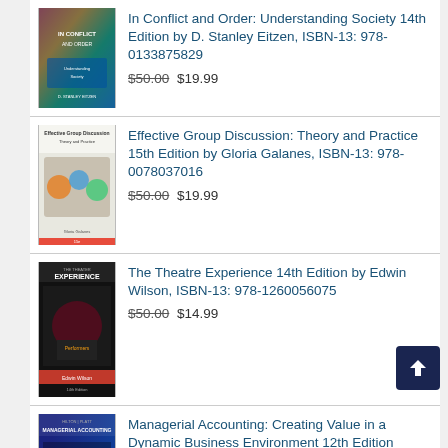In Conflict and Order: Understanding Society 14th Edition by D. Stanley Eitzen, ISBN-13: 978-0133875829 $50.00 $19.99
Effective Group Discussion: Theory and Practice 15th Edition by Gloria Galanes, ISBN-13: 978-0078037016 $50.00 $19.99
The Theatre Experience 14th Edition by Edwin Wilson, ISBN-13: 978-1260056075 $50.00 $14.99
Managerial Accounting: Creating Value in a Dynamic Business Environment 12th Edition ISBN-13: 978-1259969515 $50.00 $14.99
Fundamentals of Financial Accounting 7th